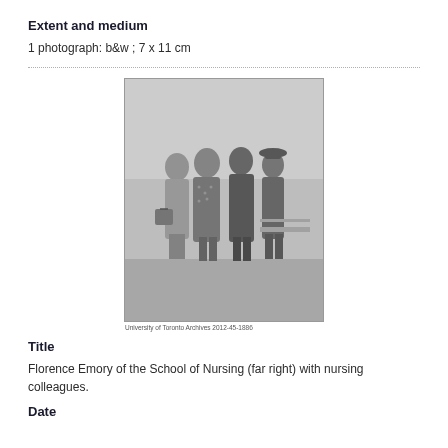Extent and medium
1 photograph: b&w ; 7 x 11 cm
[Figure (photo): Black and white photograph of four women standing together outdoors. Caption reads: University of Toronto Archives 2012-45-1886]
University of Toronto Archives 2012-45-1886
Title
Florence Emory of the School of Nursing (far right) with nursing colleagues.
Date